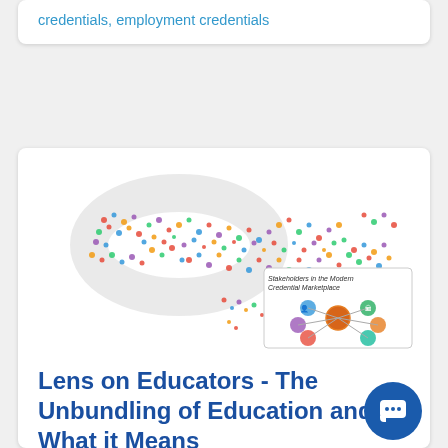credentials, employment credentials
[Figure (illustration): Aerial view of a crowd of people arranged in the shape of chain links or interlocking shapes, with an inset diagram labeled 'Stakeholders in the Modern Credential Marketplace' showing a network diagram with icons.]
Lens on Educators - The Unbundling of Education and What it Means